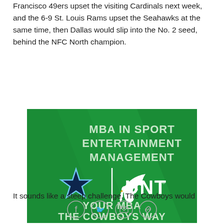Francisco 49ers upset the visiting Cardinals next week, and the 6-9 St. Louis Rams upset the Seahawks at the same time, then Dallas would slip into the No. 2 seed, behind the NFC North champion.
[Figure (illustration): Green advertisement banner for MBA in Sport Entertainment Management partnership between Dallas Cowboys and University of North Texas (UNT). Shows Cowboys star logo and UNT eagle logo with text 'MBA IN SPORT ENTERTAINMENT MANAGEMENT' and 'YOUR MBA THE COWBOYS WAY' on green background.]
It sounds like a steep challenge. The Cowboys would
[Figure (infographic): Social media sharing icons: Facebook, Twitter, Email, and Link/chain icon, displayed as circular outline buttons]